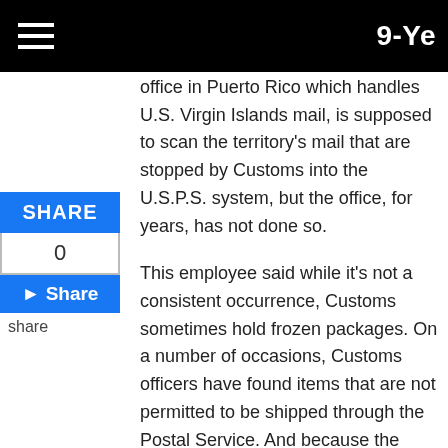9-Ye
office in Puerto Rico which handles U.S. Virgin Islands mail, is supposed to scan the territory's mail that are stopped by Customs into the U.S.P.S. system, but the office, for years, has not done so.
This employee said while it's not a consistent occurrence, Customs sometimes hold frozen packages. On a number of occasions, Customs officers have found items that are not permitted to be shipped through the Postal Service. And because the goods are frozen, they oftentimes spoil during the holdup process and are therefore not shipped to their mainland destination. The Postal Service office in Puerto Rico responsible for scanning the items stopped by Customs is called the San Juan Processing and Distribution Center, located at 585 Ave. FD Roosevelt San Juan, Pr.
“The Post Office should have an employee scanning the packages in and out of Puerto Rico, and that’s not being done,” this Postal Service employee said. Because the items stopped by